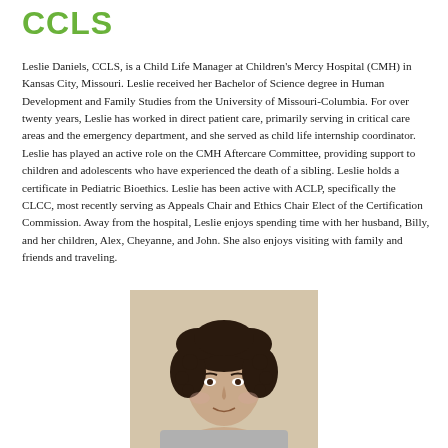CCLS
Leslie Daniels, CCLS, is a Child Life Manager at Children's Mercy Hospital (CMH) in Kansas City, Missouri. Leslie received her Bachelor of Science degree in Human Development and Family Studies from the University of Missouri-Columbia. For over twenty years, Leslie has worked in direct patient care, primarily serving in critical care areas and the emergency department, and she served as child life internship coordinator. Leslie has played an active role on the CMH Aftercare Committee, providing support to children and adolescents who have experienced the death of a sibling. Leslie holds a certificate in Pediatric Bioethics. Leslie has been active with ACLP, specifically the CLCC, most recently serving as Appeals Chair and Ethics Chair Elect of the Certification Commission. Away from the hospital, Leslie enjoys spending time with her husband, Billy, and her children, Alex, Cheyanne, and John. She also enjoys visiting with family and friends and traveling.
[Figure (photo): Headshot photograph of Leslie Daniels, a woman with curly dark hair, against a light beige/tan background]